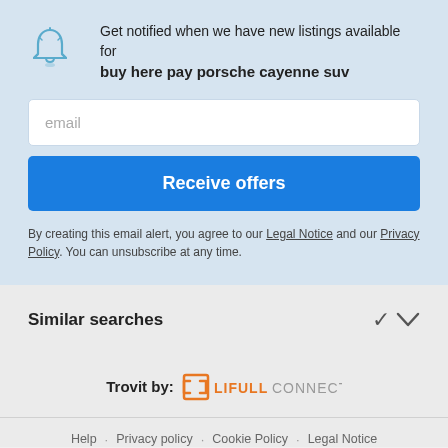Get notified when we have new listings available for buy here pay porsche cayenne suv
email
Receive offers
By creating this email alert, you agree to our Legal Notice and our Privacy Policy. You can unsubscribe at any time.
Similar searches
[Figure (logo): Trovit by LIFULL CONNECT logo]
Help · Privacy policy · Cookie Policy · Legal Notice